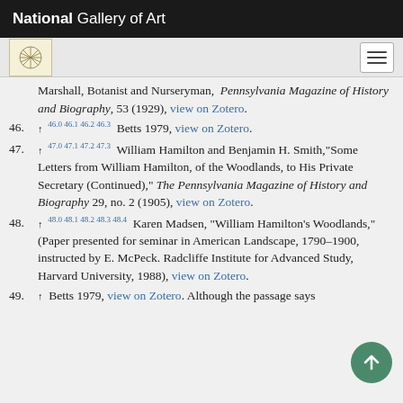National Gallery of Art
Marshall, Botanist and Nurseryman, Pennsylvania Magazine of History and Biography, 53 (1929), view on Zotero.
46. ↑ 46.0 46.1 46.2 46.3 Betts 1979, view on Zotero.
47. ↑ 47.0 47.1 47.2 47.3 William Hamilton and Benjamin H. Smith,"Some Letters from William Hamilton, of the Woodlands, to His Private Secretary (Continued)," The Pennsylvania Magazine of History and Biography 29, no. 2 (1905), view on Zotero.
48. ↑ 48.0 48.1 48.2 48.3 48.4 Karen Madsen, "William Hamilton's Woodlands," (Paper presented for seminar in American Landscape, 1790–1900, instructed by E. McPeck. Radcliffe Institute for Advanced Study, Harvard University, 1988), view on Zotero.
49. ↑ Betts 1979, view on Zotero. Although the passage says